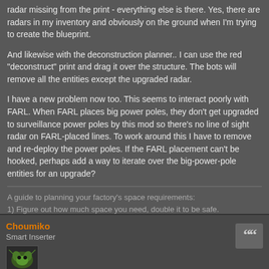radar missing from the print - everything else is there. Yes, there are radars in my inventory and obviously on the ground when I'm trying to create the blueprint.
And likewise with the deconstruction planner.. I can use the red "deconstruct" print and drag it over the structure. The bots will remove all the entities except the upgraded radar.
I have a new problem now too. This seems to interact poorly with FARL. When FARL places big power poles, they don't get upgraded to surveillance power poles by this mod so there's no line of sight radar on FARL-placed lines. To work around this I have to remove and re-deploy the power poles. If the FARL placement can't be hooked, perhaps add a way to iterate over the big-power-pole entities for an upgrade?
A guide to planning your factory's space requirements:
1) Figure out how much space you need, double it to be safe.
2) Wrong! There's never enough space.
Choumiko
Smart Inserter